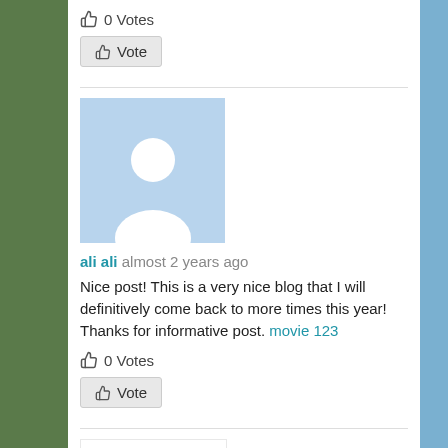👍 0 Votes
👍 Vote
[Figure (illustration): Blue square placeholder avatar with white silhouette of a person]
ali ali  almost 2 years ago
Nice post! This is a very nice blog that I will definitively come back to more times this year! Thanks for informative post. movie 123
👍 0 Votes
👍 Vote
[Figure (logo): Circular black logo with DA text and DIGITAL ALI subtitle, pink/rose border]
Digital Ali  almost 2 years ago